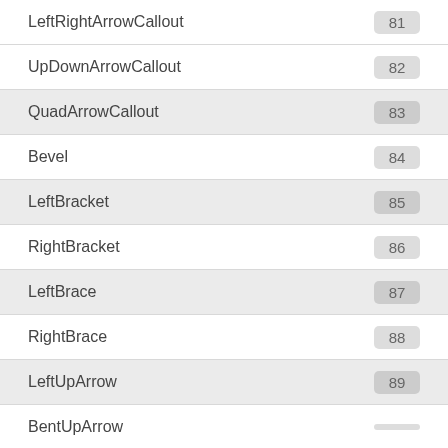LeftRightArrowCallout  81
UpDownArrowCallout  82
QuadArrowCallout  83
Bevel  84
LeftBracket  85
RightBracket  86
LeftBrace  87
RightBrace  88
LeftUpArrow  89
BentUpArrow  (partially visible)